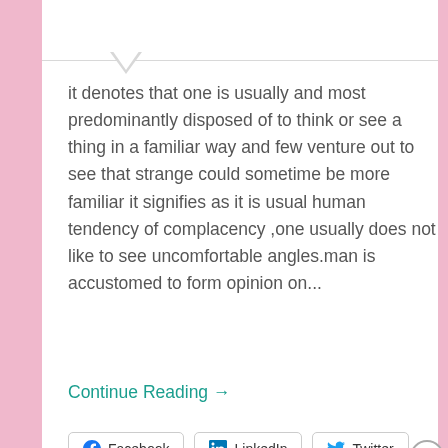it denotes that one is usually and most predominantly disposed of to think or see a thing in a familiar way and few venture out to see that strange could sometime be more familiar it signifies as it is usual human tendency of complacency ,one usually does not like to see uncomfortable angles.man is accustomed to form opinion on...
Continue Reading →
[Figure (screenshot): Social share buttons for Facebook, LinkedIn, and Twitter]
[Figure (screenshot): DuckDuckGo advertisement banner: Search, browse, and email with more privacy. All in One Free App]